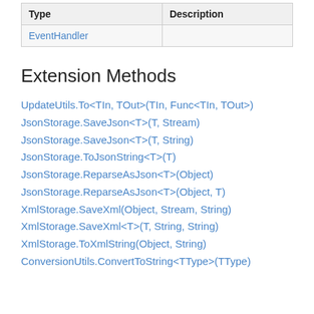| Type | Description |
| --- | --- |
| EventHandler |  |
Extension Methods
UpdateUtils.To<TIn, TOut>(TIn, Func<TIn, TOut>)
JsonStorage.SaveJson<T>(T, Stream)
JsonStorage.SaveJson<T>(T, String)
JsonStorage.ToJsonString<T>(T)
JsonStorage.ReparseAsJson<T>(Object)
JsonStorage.ReparseAsJson<T>(Object, T)
XmlStorage.SaveXml(Object, Stream, String)
XmlStorage.SaveXml<T>(T, String, String)
XmlStorage.ToXmlString(Object, String)
ConversionUtils.ConvertToString<TType>(TType)